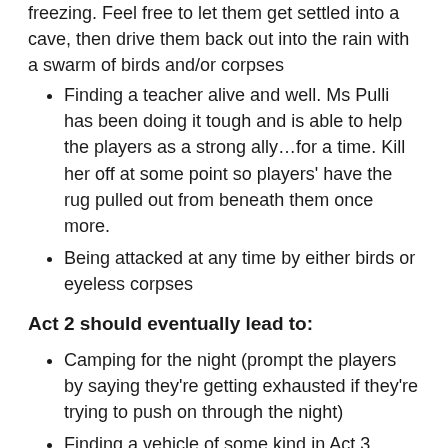freezing. Feel free to let them get settled into a cave, then drive them back out into the rain with a swarm of birds and/or corpses
Finding a teacher alive and well. Ms Pulli has been doing it tough and is able to help the players as a strong ally…for a time. Kill her off at some point so players' have the rug pulled out from beneath them once more.
Being attacked at any time by either birds or eyeless corpses
Act 2 should eventually lead to:
Camping for the night (prompt the players by saying they're getting exhausted if they're trying to push on through the night)
Finding a vehicle of some kind in Act 3
Act 3